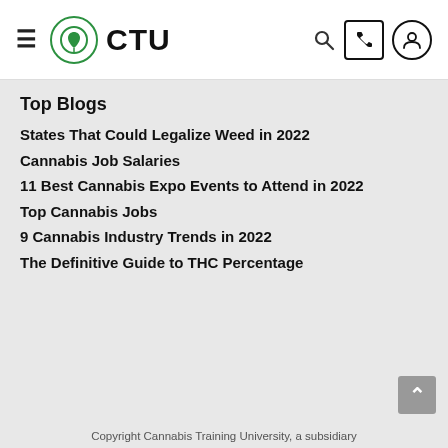CTU - Cannabis Training University
Top Blogs
States That Could Legalize Weed in 2022
Cannabis Job Salaries
11 Best Cannabis Expo Events to Attend in 2022
Top Cannabis Jobs
9 Cannabis Industry Trends in 2022
The Definitive Guide to THC Percentage
Copyright Cannabis Training University, a subsidiary